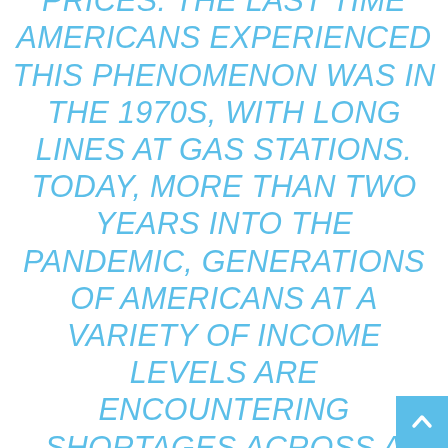AVAILABILITY OF PRODUCTS, OR LACK THEREOF, IS AS CRITICAL AN ISSUE AS RISING PRICES. THE LAST TIME AMERICANS EXPERIENCED THIS PHENOMENON WAS IN THE 1970S, WITH LONG LINES AT GAS STATIONS. TODAY, MORE THAN TWO YEARS INTO THE PANDEMIC, GENERATIONS OF AMERICANS AT A VARIETY OF INCOME LEVELS ARE ENCOUNTERING SHORTAGES ACROSS A MUCH WIDER ARRAY OF PRODUCTS. IT IS, IN MANY WAYS, A NEW AGE OF SCARCITY. ...